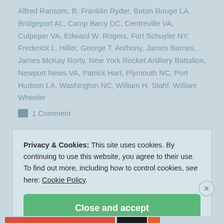Alfred Ransom, B. Franklin Ryder, Baton Rouge LA, Bridgeport AL, Camp Barry DC, Centreville VA, Culpeper VA, Edward W. Rogers, Fort Schuyler NY, Frederick L. Hiller, George T. Anthony, James Barnes, James McKay Rorty, New York Rocket Artillery Battalion, Newport News VA, Patrick Hart, Plymouth NC, Port Hudson LA, Washington NC, William H. Stahl, William Wheeler
1 Comment
Privacy & Cookies: This site uses cookies. By continuing to use this website, you agree to their use. To find out more, including how to control cookies, see here: Cookie Policy.
Close and accept